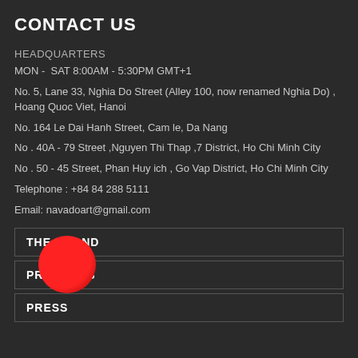CONTACT US
HEADQUARTERS
MON -  SAT 8:00AM - 5:30PM GMT+1
No. 5, Lane 33, Nghia Do Street (Alley 100, now renamed Nghia Do) , Hoang Quoc Viet, Hanoi
No. 164 Le Dai Hanh Street, Cam le, Da Nang
No . 40A - 79 Street ,Nguyen Thi Thap ,7 District, Ho Chi Minh City
No . 50 - 45 Street, Phan Huy ich , Go Vap District, Ho Chi Minh City
Telephone : +84 84 288 5111
Email: navadoart@gmail.com
THE BRAND
PRODUCTS
PRESS